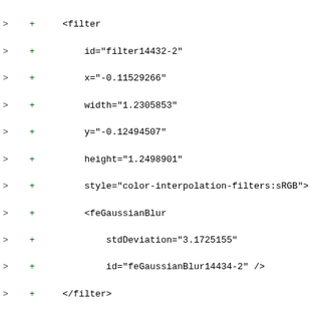Diff/code listing showing XML SVG filter and linearGradient elements with attributes: filter id=filter14432-2, x=-0.11529266, width=1.2305853, y=-0.12494507, height=1.2498901, style=color-interpolation-filters:sRGB, feGaussianBlur stdDeviation=3.1725155 id=feGaussianBlur14434-2, /filter, linearGradient id=linearGradient17009, stop style=stop-color:#f3cd0c offset=0 id=stop17011, stop style=stop-color:#f3cd0c;stop-opacity:0 offset=1 id=stop17013, /linearGradient, filter id=filter17044, x=-0.020911871, width=1.0418237, y=-0.12926871, height=1.2585374, style=color-interpolation-filters:sRGB, feGaussianBlur